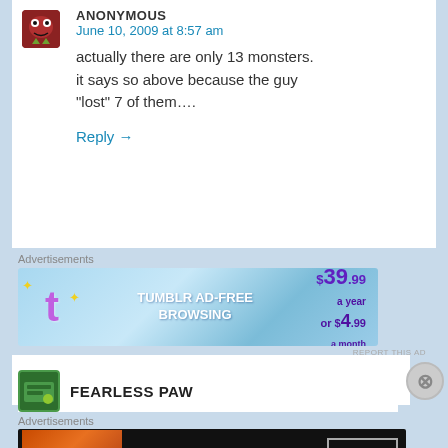ANONYMOUS
June 10, 2009 at 8:57 am
actually there are only 13 monsters. it says so above because the guy "lost" 7 of them….
Reply →
Advertisements
[Figure (infographic): Tumblr Ad-Free Browsing advertisement banner. Shows Tumblr 't' logo with sparkles, text 'TUMBLR AD-FREE BROWSING', price $39.99 a year or $4.99 a month.]
FEARLESS PAW
Advertisements
[Figure (infographic): Seamless food delivery advertisement banner. Shows pizza image, Seamless logo in red, and ORDER NOW button.]